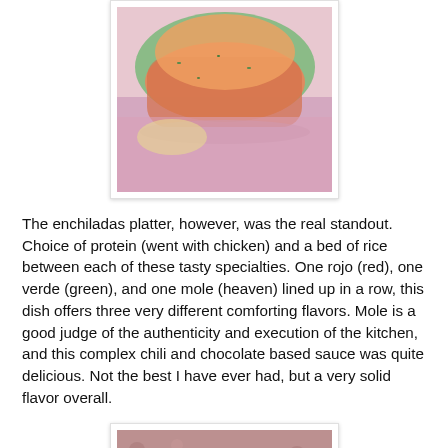[Figure (photo): Photo of food dish — appears to be colorful Mexican food, possibly enchiladas or tacos, with bright orange, green and pink colors on a plate, partially cropped at top of page.]
The enchiladas platter, however, was the real standout. Choice of protein (went with chicken) and a bed of rice between each of these tasty specialties. One rojo (red), one verde (green), and one mole (heaven) lined up in a row, this dish offers three very different comforting flavors. Mole is a good judge of the authenticity and execution of the kitchen, and this complex chili and chocolate based sauce was quite delicious. Not the best I have ever had, but a very solid flavor overall.
[Figure (photo): Photo of a plate of enchiladas with shredded cheese, orange-colored rice or topping, and sauce on a white plate against a patterned table surface, partially cropped at bottom of page.]